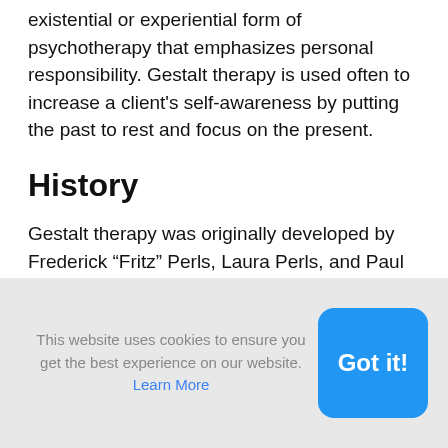existential or experiential form of psychotherapy that emphasizes personal responsibility. Gestalt therapy is used often to increase a client's self-awareness by putting the past to rest and focus on the present.
History
Gestalt therapy was originally developed by Frederick “Fritz” Perls, Laura Perls, and Paul Goodman in the 1940s. Perls believed that self-awareness leads to self-acceptance and responsibility for one’s thoughts and feelings. Gestalt
This website uses cookies to ensure you get the best experience on our website. Learn More